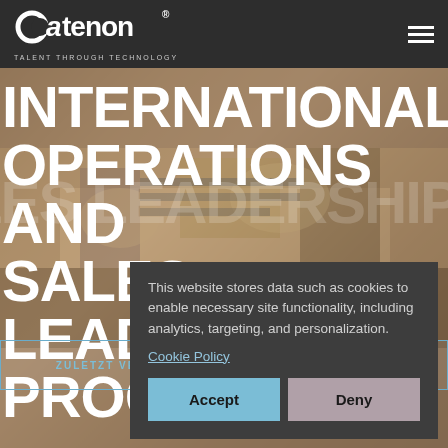catenon — TALENT THROUGH TECHNOLOGY
INTERNATIONAL OPERATIONS AND SALES LEADERSHIP PROGRAM Mumbai
ZULETZT VERÖFFENTLICHTE STELLEN ANSEHEN →
This website stores data such as cookies to enable necessary site functionality, including analytics, targeting, and personalization.
Cookie Policy
Accept
Deny